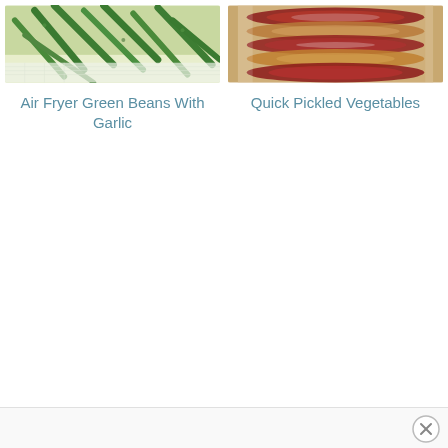[Figure (photo): Close-up photo of air fryer green beans with garlic on a white surface]
Air Fryer Green Beans With Garlic
[Figure (photo): Close-up photo of quick pickled vegetables including red onions in a glass jar]
Quick Pickled Vegetables